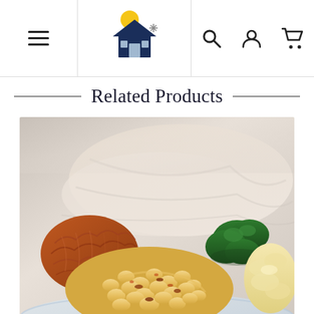Navigation bar with menu, logo, search, account, and cart icons
Related Products
[Figure (photo): Close-up photo of a plate of food featuring mac and cheese, pulled pork or shredded meat, broccoli, and mashed potatoes on a blue and white plate with a cloth napkin in the background.]